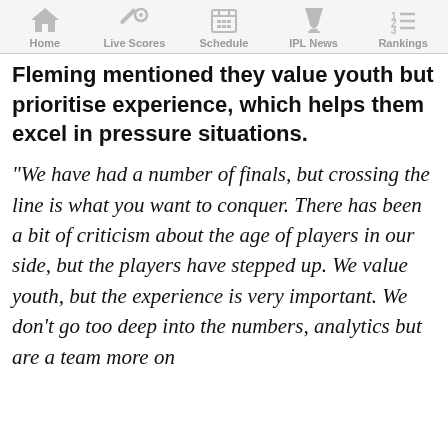Home | Live Scores | Schedule | IPL News | Rankings
Fleming mentioned they value youth but prioritise experience, which helps them excel in pressure situations.
“We have had a number of finals, but crossing the line is what you want to conquer. There has been a bit of criticism about the age of players in our side, but the players have stepped up. We value youth, but the experience is very important. We don’t go too deep into the numbers, analytics but are a team more on